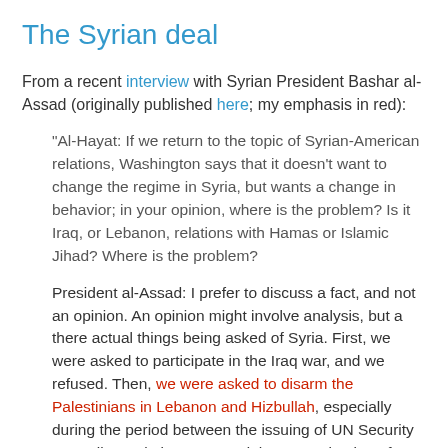The Syrian deal
From a recent interview with Syrian President Bashar al-Assad (originally published here; my emphasis in red):
“Al-Hayat: If we return to the topic of Syrian-American relations, Washington says that it doesn't want to change the regime in Syria, but wants a change in behavior; in your opinion, where is the problem? Is it Iraq, or Lebanon, relations with Hamas or Islamic Jihad? Where is the problem?
President al-Assad: I prefer to discuss a fact, and not an opinion. An opinion might involve analysis, but a there actual things being asked of Syria. First, we were asked to participate in the Iraq war, and we refused. Then, we were asked to disarm the Palestinians in Lebanon and Hizbullah, especially during the period between the issuing of UN Security Council Resolution 1559 and the assassination of former Prime Minister Rafik Hariri. This phase involved bargaining, so that Syria could remain in Lebanon, but it would have to do